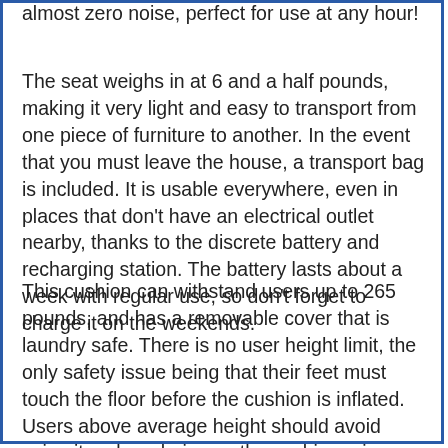almost zero noise, perfect for use at any hour!
The seat weighs in at 6 and a half pounds, making it very light and easy to transport from one piece of furniture to another. In the event that you must leave the house, a transport bag is included. It is usable everywhere, even in places that don't have an electrical outlet nearby, thanks to the discrete battery and recharging station. The battery lasts about a week with regular use, so don't forget to charge it on the weekends.
This cushion can withstand users up to 265 pounds, and has a removable cover that is laundry safe. There is no user height limit, the only safety issue being that their feet must touch the floor before the cushion is inflated. Users above average height should avoid using it on low chairs, as the cushion raises them 8 inches. If there is an option for a higher chair or seat, it should be used there for optimal results and to prevent the user from using too